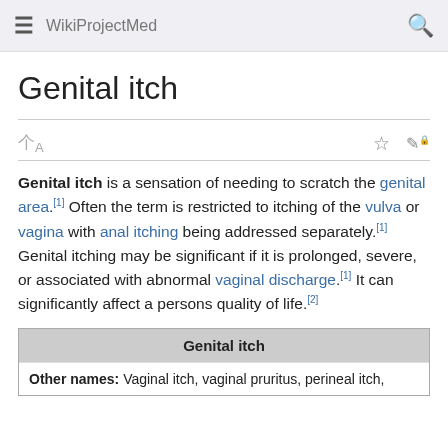WikiProjectMed
Genital itch
Genital itch is a sensation of needing to scratch the genital area.[1] Often the term is restricted to itching of the vulva or vagina with anal itching being addressed separately.[1] Genital itching may be significant if it is prolonged, severe, or associated with abnormal vaginal discharge.[1] It can significantly affect a persons quality of life.[2]
| Genital itch |
| --- |
| Other names: Vaginal itch, vaginal pruritus, perineal itch, |